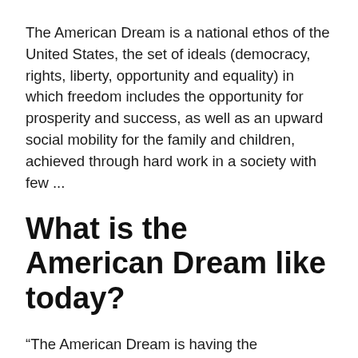The American Dream is a national ethos of the United States, the set of ideals (democracy, rights, liberty, opportunity and equality) in which freedom includes the opportunity for prosperity and success, as well as an upward social mobility for the family and children, achieved through hard work in a society with few ...
What is the American Dream like today?
“The American Dream is having the opportunity to work your way towards a better life. There are a lot of people around the world that work hard to survive, but the